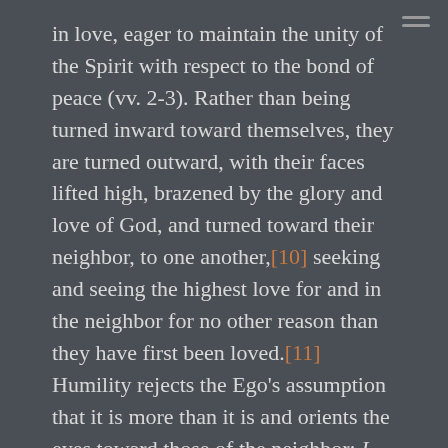in love, eager to maintain the unity of the Spirit with respect to the bond of peace (vv. 2-3). Rather than being turned inward toward themselves, they are turned outward, with their faces lifted high, brazened by the glory and love of God, and turned toward their neighbor, to one another,[10] seeking and seeing the highest love for and in the neighbor for no other reason than they have first been loved.[11] Humility rejects the Ego's assumption that it is more than it is and orients the eyes toward those of the neighbor; I don't just see me, I see you and me. Gentleness isn't weakness but rightly ordered self-control, knowing when and where to use force and when not to; I will ally with you in the fight and in rest.[12] Being realistic about the burden and demand of community, the community acknowledges the burden and shows up in that burden to walk with their neighbors through their trials and tribulations to be with their neighbors in their negativity